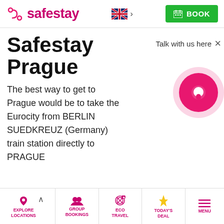safestay — BOOK
Safestay Prague
Talk with us here
The best way to get to Prague would be to take the Eurocity from BERLIN SUEDKREUZ (Germany) train station directly to PRAGUE
EXPLORE LOCATIONS | GROUP BOOKINGS | ECO TRAVEL | TODAY'S DEAL | MENU